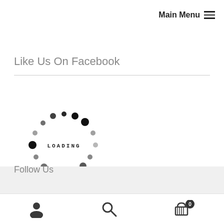Main Menu
Like Us On Facebook
[Figure (other): Loading spinner with dots arranged in a circle and the text LOADING in the center]
Follow Us
Bottom navigation bar with user icon, search icon, and cart icon with badge 0